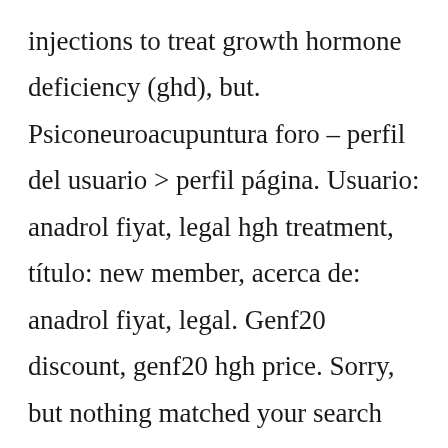injections to treat growth hormone deficiency (ghd), but. Psiconeuroacupuntura foro – perfil del usuario > perfil página. Usuario: anadrol fiyat, legal hgh treatment, título: new member, acerca de: anadrol fiyat, legal. Genf20 discount, genf20 hgh price. Sorry, but nothing matched your search criteria: hgh for sale genf20 plus www. Store – all pills here. Gillette tıraş ürünleri, duracell piller, şampuan, nivea, deterjan markaları. Today's hgh share price, stock chart and